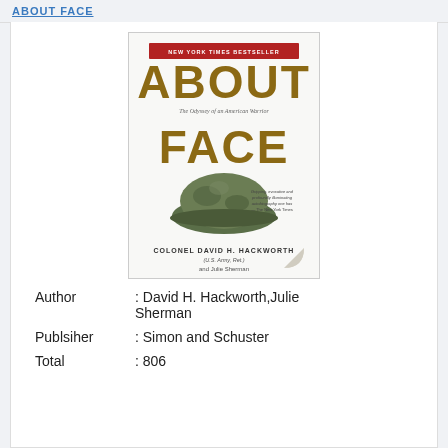ABOUT FACE
[Figure (photo): Book cover of 'About Face: The Odyssey of an American Warrior' by Colonel David H. Hackworth (U.S. Army, Ret.) and Julie Sherman. New York Times Bestseller. Shows a military helmet on a white background with large brown block letters.]
Author : David H. Hackworth,Julie Sherman
Publsiher : Simon and Schuster
Total : 806